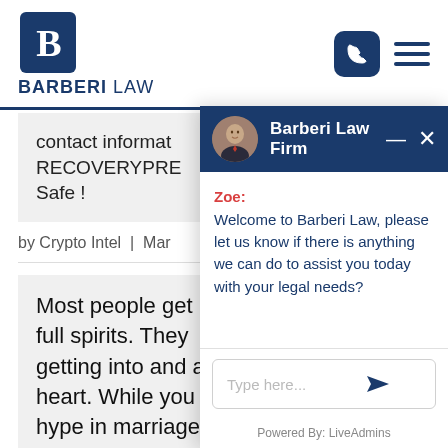BARBERI LAW
contact informat... RECOVERYPRE... Safe !
by Crypto Intel | Mar...
Most people get ... full spirits. They ... getting into and a... heart. While you ... hype in marriage... leading up to the wedding day, it can get a bit...
[Figure (screenshot): Barberi Law Firm live chat widget with avatar, chat header, message from Zoe welcoming visitors, and input box. Powered by LiveAdmins.]